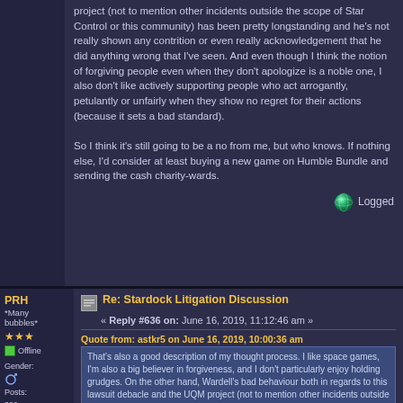project (not to mention other incidents outside the scope of Star Control or this community) has been pretty longstanding and he's not really shown any contrition or even really acknowledgement that he did anything wrong that I've seen. And even though I think the notion of forgiving people even when they don't apologize is a noble one, I also don't like actively supporting people who act arrogantly, petulantly or unfairly when they show no regret for their actions (because it sets a bad standard).

So I think it's still going to be a no from me, but who knows. If nothing else, I'd consider at least buying a new game on Humble Bundle and sending the cash charity-wards.
Logged
PRH
*Many bubbles*
★★★
Offline
Gender:
Posts: 209
Re: Stardock Litigation Discussion
« Reply #636 on: June 16, 2019, 11:12:46 am »
Quote from: astkr5 on June 16, 2019, 10:00:36 am
That's also a good description of my thought process. I like space games, I'm also a big believer in forgiveness, and I don't particularly enjoy holding grudges. On the other hand, Wardell's bad behaviour both in regards to this lawsuit debacle and the UQM project (not to mention other incidents outside the scope of Star Control or this community) has been pretty longstanding and he's not really shown any contrition or even really acknowledgement that he did anything wrong that I've seen. And even though I think the notion of forgiving people even when they don't apologize is a noble one, I also don't like actively supporting people who act arrogantly, petulantly or unfairly when they show no regret for their actions (because it sets a